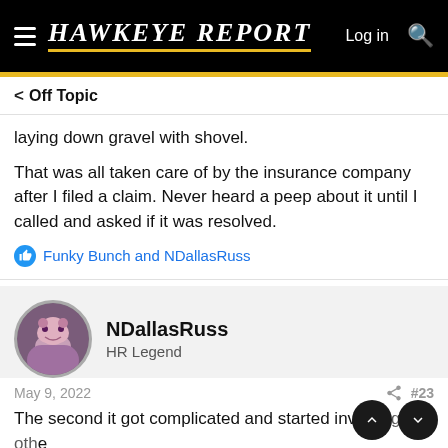Hawkeye Report — Log in
< Off Topic
laying down gravel with shovel.
That was all taken care of by the insurance company after I filed a claim. Never heard a peep about it until I called and asked if it was resolved.
Funky Bunch and NDallasRuss
NDallasRuss
HR Legend
May 9, 2022
#23
The second it got complicated and started involving other family members doing different types of chores, you